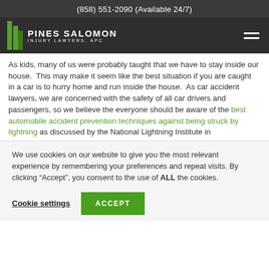(858) 551-2090 (Available 24/7)
[Figure (logo): Pines Salomon Injury Lawyers, APC logo with green building icon and white text on dark background, plus hamburger menu icon]
As kids, many of us were probably taught that we have to stay inside our house.  This may make it seem like the best situation if you are caught in a car is to hurry home and run inside the house.  As car accident lawyers, we are concerned with the safety of all car drivers and passengers, so we believe the everyone should be aware of the best automobile accident prevention techniques against being struck by lightning as discussed by the National Lightning Institute in
We use cookies on our website to give you the most relevant experience by remembering your preferences and repeat visits. By clicking “Accept”, you consent to the use of ALL the cookies.
Cookie settings  ACCEPT